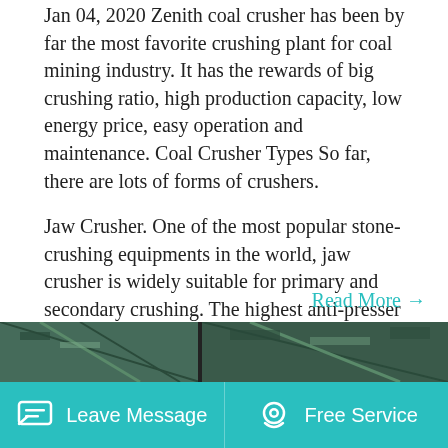Jan 04, 2020 Zenith coal crusher has been by far the most favorite crushing plant for coal mining industry. It has the rewards of big crushing ratio, high production capacity, low energy price, easy operation and maintenance. Coal Crusher Types So far, there are lots of forms of crushers.
Jaw Crusher. One of the most popular stone-crushing equipments in the world, jaw crusher is widely suitable for primary and secondary crushing. The highest anti-presser strength of crushed material is 320Mpa. Our design and production are the high position both of home and abroad. One of main products, jaw crusher is designed with large.
Read More →
[Figure (photo): Partial view of industrial machinery/equipment strip at bottom of page]
Leave Message    Free Service